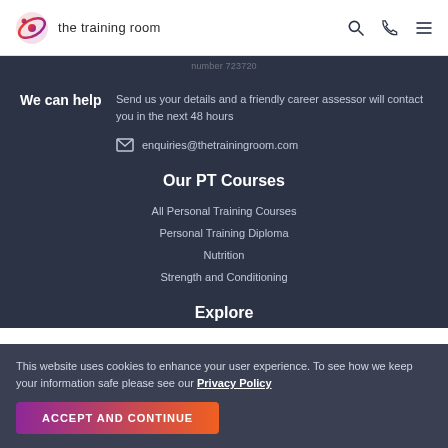the training room
number 723720
We can help — Send us your details and a friendly career assessor will contact you in the next 48 hours
enquiries@thetrainingroom.com
Our PT Courses
All Personal Training Courses
Personal Training Diploma
Nutrition
Strength and Conditioning
Explore
This website uses cookies to enhance your user experience. To see how we keep your information safe please see our Privacy Policy
ACCEPT AND CONTINUE